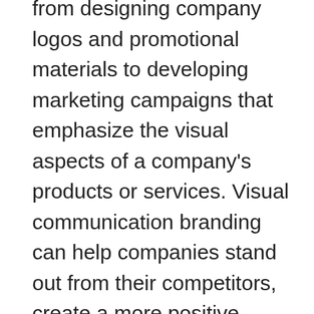from designing company logos and promotional materials to developing marketing campaigns that emphasize the visual aspects of a company's products or services. Visual communication branding can help companies stand out from their competitors, create a more positive image for themselves, and attract new customers.

Visual communication branding is the process of creating a clear, unified image for an organization or product. It can involve everything from developing a logo and